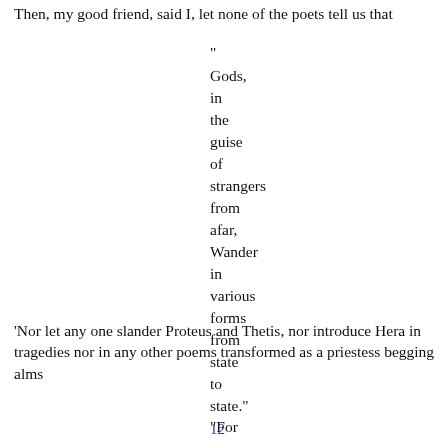Then, my good friend, said I, let none of the poets tell us that
"
Gods,
in
the
guise
of
strangers
from
afar,
Wander
in
various
forms
from
state
to
state."
12
'Nor let any one slander Proteus and Thetis, nor introduce Hera in tragedies nor in any other poems transformed as a priestess begging alms
"For